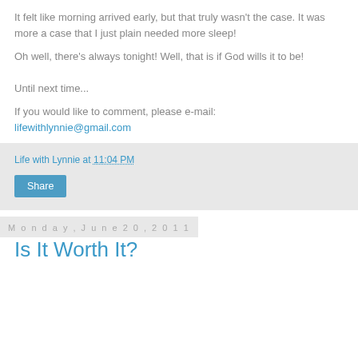It felt like morning arrived early, but that truly wasn't the case.  It was more a case that I just plain needed more sleep!
Oh well, there's always tonight!  Well, that is if God wills it to be!
Until next time...
If you would like to comment, please e-mail: lifewithlynnie@gmail.com
Life with Lynnie at 11:04 PM
Share
Monday, June 20, 2011
Is It Worth It?